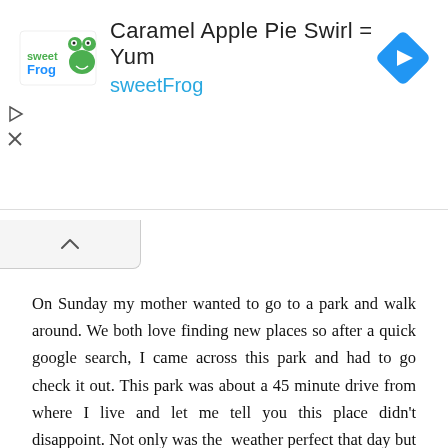[Figure (other): sweetFrog advertisement banner with logo, heading 'Caramel Apple Pie Swirl = Yum', subtitle 'sweetFrog', navigation icon, play and close controls]
On Sunday my mother wanted to go to a park and walk around. We both love finding new places so after a quick google search, I came across this park and had to go check it out. This park was about a 45 minute drive from where I live and let me tell you this place didn't disappoint. Not only was the weather perfect that day but this park was something you wouldn't expect to find in New Jersey. The best part it's completely free where you don't have to pay for parking or